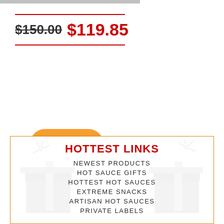$150.00 $119.85
ON BACK ORDER
HOTTEST LINKS
NEWEST PRODUCTS
HOT SAUCE GIFTS
HOTTEST HOT SAUCES
EXTREME SNACKS
ARTISAN HOT SAUCES
PRIVATE LABELS